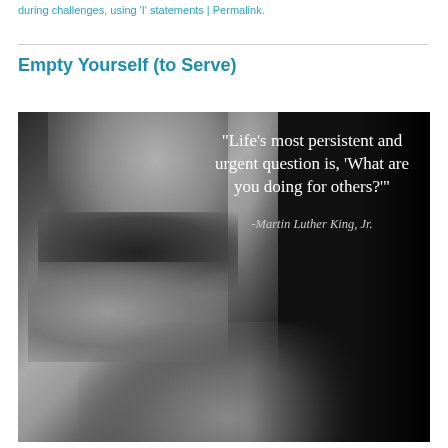during challenges, using 'I' statements | Permalink.
Empty Yourself (to Serve)
[Figure (photo): Black and white photograph of Martin Luther King Jr. with a quote overlaid: "Life's most persistent and urgent question is, 'What are you doing for others?'" attributed to -Martin Luther King, Jr.]